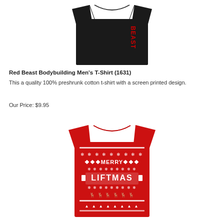[Figure (photo): Black t-shirt with red vertical 'BEAST' text on side]
Red Beast Bodybuilding Men's T-Shirt (1631)
This a quality 100% preshrunk cotton t-shirt with a screen printed design.
Our Price: $9.95
[Figure (photo): Red t-shirt with white 'MERRY LIFTMAS' holiday ugly sweater style print with reindeer and Christmas trees]